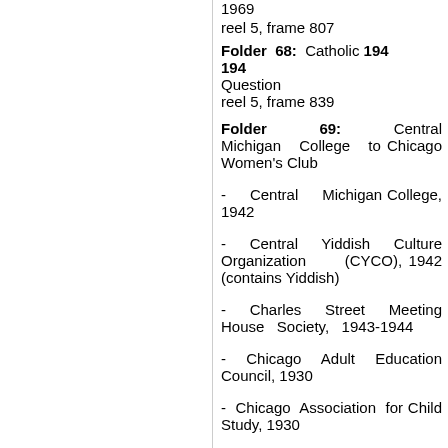reel 5, frame 807
Folder 68: Catholic Question 1949-1945
reel 5, frame 839
Folder 69: Central Michigan College to Chicago Women's Club
- Central Michigan College, 1942
- Central Yiddish Culture Organization (CYCO), 1942 (contains Yiddish)
- Charles Street Meeting House Society, 1943-1944
- Chicago Adult Education Council, 1930
- Chicago Association for Child Study, 1930
- Chicago Board of Jewish Education, 1945